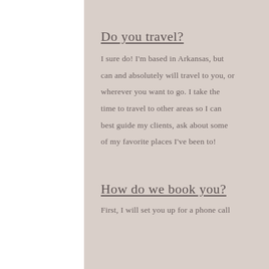Do you travel?
I sure do! I'm based in Arkansas, but can and absolutely will travel to you, or wherever you want to go. I take the time to travel to other areas so I can best guide my clients, ask about some of my favorite places I've been to!
How do we book you?
First, I will set you up for a phone call